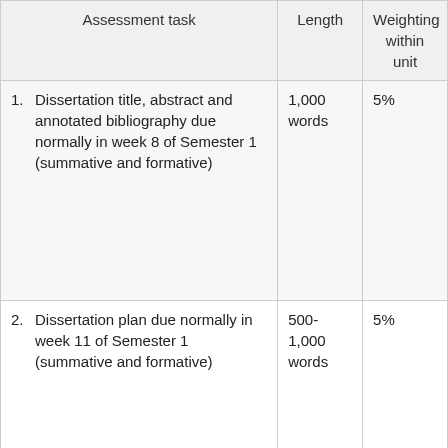| Assessment task | Length | Weighting within unit |
| --- | --- | --- |
| 1. Dissertation title, abstract and annotated bibliography due normally in week 8 of Semester 1 (summative and formative) | 1,000 words | 5% |
| 2. Dissertation plan due normally in week 11 of Semester 1 (summative and formative) | 500-1,000 words | 5% |
| 3. ... | 3,000 ... | 5% ... |